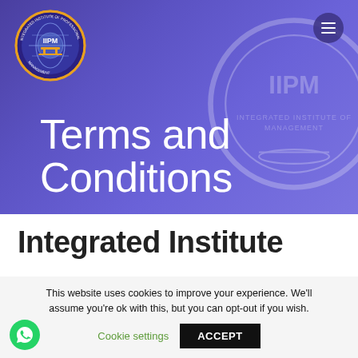[Figure (logo): IIPM - Integrated Institute of Professional Management circular logo in top-left of hero banner]
Terms and Conditions
Integrated Institute
This website uses cookies to improve your experience. We'll assume you're ok with this, but you can opt-out if you wish.
Cookie settings   ACCEPT